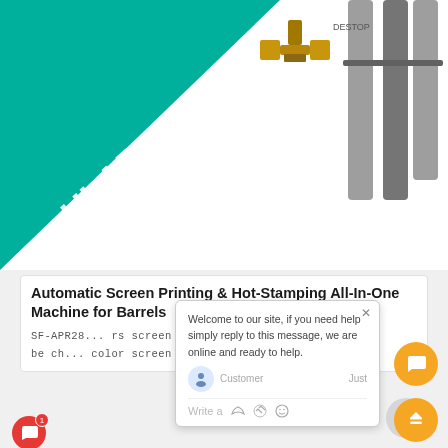[Figure (screenshot): Screenshot of an e-commerce website showing product listings with a chat popup overlay. Top section shows product images including a teal triangle graphic with 'ULAR printing' text, a brass fitting product, and grey metal parts. A chat popup reads 'Welcome to our site, if you need help simply reply to this message, we are online and ready to help.' with customer name, timestamp 'just', and write/emoji controls. Below shows product title 'Automatic Screen Printing & Hot-Stamping All-In-One Machine for Barrels' and partial description. An eye icon circle, orange chat button, and orange scroll-up button are visible. A second product card shows a white water dispenser machine.]
Automatic Screen Printing & Hot-Stamping All-In-One Machine for Barrels
SF-APR28... rs screen printing machine or can be ch... color screen printing with hot
Welcome to our site, if you need help simply reply to this message, we are online and ready to help.